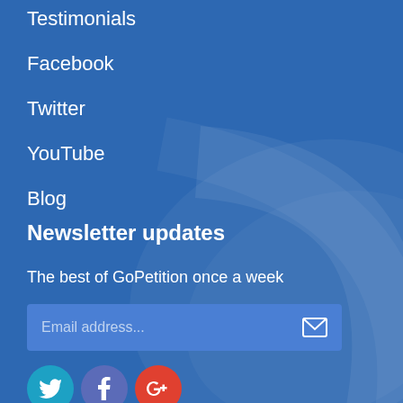Testimonials
Facebook
Twitter
YouTube
Blog
Newsletter updates
The best of GoPetition once a week
[Figure (other): Email address input field with envelope icon and social media icon buttons (Twitter, Facebook, Google+)]